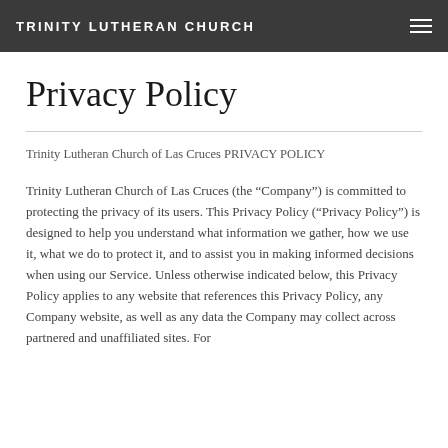TRINITY LUTHERAN CHURCH
Privacy Policy
Trinity Lutheran Church of Las Cruces PRIVACY POLICY
Trinity Lutheran Church of Las Cruces (the “Company”) is committed to protecting the privacy of its users. This Privacy Policy (“Privacy Policy”) is designed to help you understand what information we gather, how we use it, what we do to protect it, and to assist you in making informed decisions when using our Service. Unless otherwise indicated below, this Privacy Policy applies to any website that references this Privacy Policy, any Company website, as well as any data the Company may collect across partnered and unaffiliated sites. For